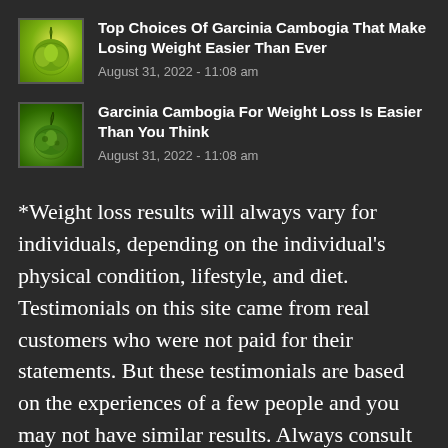[Figure (photo): Small thumbnail of green Garcinia Cambogia fruit on dark background]
Top Choices Of Garcinia Cambogia That Make Losing Weight Easier Than Ever
August 31, 2022 - 11:08 am
[Figure (photo): Small thumbnail of green Garcinia Cambogia fruit on dark background]
Garcinia Cambogia For Weight Loss Is Easier Than You Think
August 31, 2022 - 11:08 am
*Weight loss results will always vary for individuals, depending on the individual's physical condition, lifestyle, and diet. Testimonials on this site came from real customers who were not paid for their statements. But these testimonials are based on the experiences of a few people and you may not have similar results. Always consult your physician before making any dietary changes or